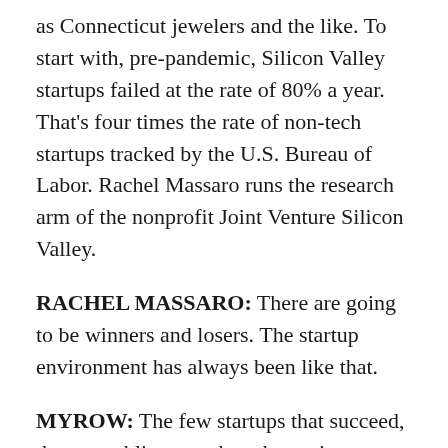as Connecticut jewelers and the like. To start with, pre-pandemic, Silicon Valley startups failed at the rate of 80% a year. That's four times the rate of non-tech startups tracked by the U.S. Bureau of Labor. Rachel Massaro runs the research arm of the nonprofit Joint Venture Silicon Valley.
RACHEL MASSARO: There are going to be winners and losers. The startup environment has always been like that.
MYROW: The few startups that succeed, that go public or get bought out in multibillion-dollar deals can make investors fabulously wealthy. But those investors know most startups fail, and that makes it hard to argue they deserve a taxpayer bailout. Eshoo says her Caring for Startup Employees Act of 2020 includes guardrails to protect federal funds from being used to pay back investors. And she says